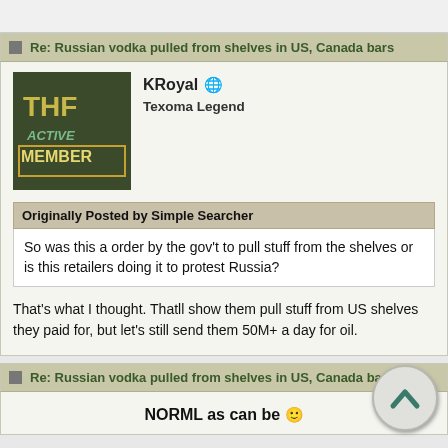Re: Russian vodka pulled from shelves in US, Canada bars
KRoyal
Texoma Legend
Originally Posted by Simple Searcher
So was this a order by the gov't to pull stuff from the shelves or is this retailers doing it to protest Russia?
That's what I thought. Thatll show them pull stuff from US shelves they paid for, but let's still send them 50M+ a day for oil.
Re: Russian vodka pulled from shelves in US, Canada bars
NORML as can be 🙂